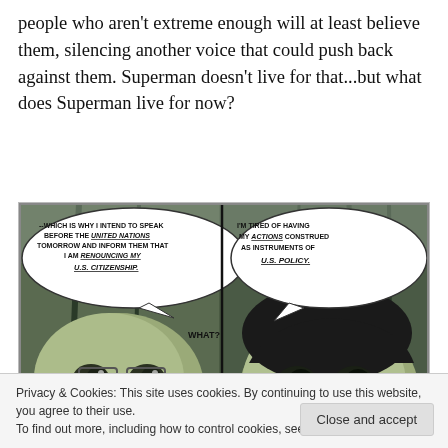people who aren't extreme enough will at least believe them, silencing another voice that could push back against them. Superman doesn't live for that...but what does Superman live for now?
[Figure (illustration): Comic book panel showing two characters. Left speech bubble: '--WHICH IS WHY I INTEND TO SPEAK BEFORE THE UNITED NATIONS TOMORROW AND INFORM THEM THAT I AM RENOUNCING MY U.S. CITIZENSHIP.' Center: 'WHAT?' Right speech bubble: 'I'M TIRED OF HAVING MY ACTIONS CONSTRUED AS INSTRUMENTS OF U.S. POLICY.']
Privacy & Cookies: This site uses cookies. By continuing to use this website, you agree to their use.
To find out more, including how to control cookies, see here: Cookie Policy